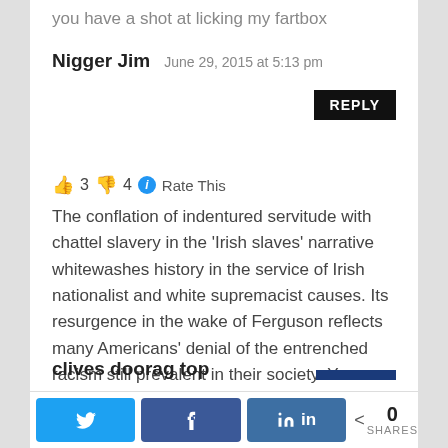you have a shot at licking my fartbox
Nigger Jim — June 29, 2015 at 5:13 pm
👍 3 👎 4 ℹ Rate This
The conflation of indentured servitude with chattel slavery in the 'Irish slaves' narrative whitewashes history in the service of Irish nationalist and white supremacist causes. Its resurgence in the wake of Ferguson reflects many Americans' denial of the entrenched racism still prevalent in their society. Your fartbox is more deserving of a hot poker.
clives doorag top
SHARES: 0